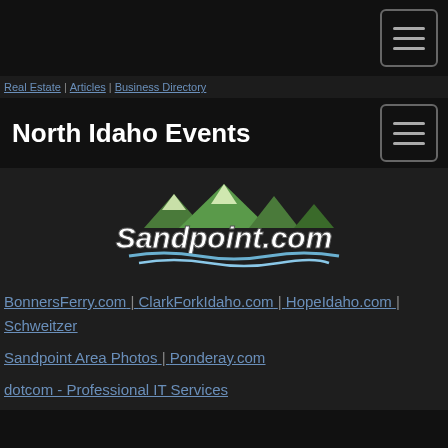North Idaho Events
Real Estate | Articles | Business Directory
[Figure (logo): Sandpoint.com logo with green mountain peaks and blue water waves]
BonnersFerry.com | ClarkForkIdaho.com | HopeIdaho.com | Schweitzer
Sandpoint Area Photos | Ponderay.com
dotcom - Professional IT Services
©Copyright 1998-2022 by Sandpoint.com - All rights reserved